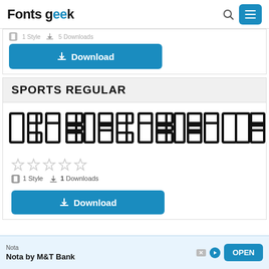Fonts geek
[Figure (screenshot): Partial card with Download button (top of page, cut off)]
SPORTS REGULAR
[Figure (other): Font preview showing stylized block characters for Sports Regular font]
[Figure (other): 5 empty star rating icons]
1 Style   1 Downloads
[Figure (other): Download button (blue)]
Nota
Nota by M&T Bank
[Figure (other): OPEN button (blue) — ad banner]